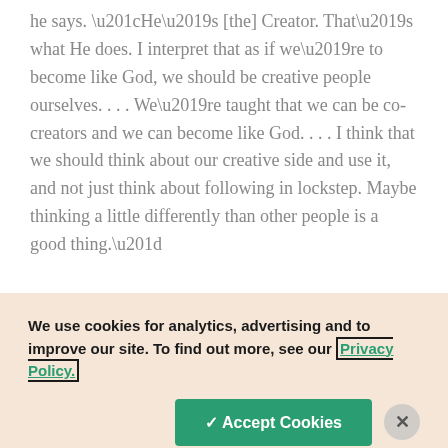he says. “He’s [the] Creator. That’s what He does. I interpret that as if we’re to become like God, we should be creative people ourselves. . . . We’re taught that we can be co-creators and we can become like God. . . . I think that we should think about our creative side and use it, and not just think about following in lockstep. Maybe thinking a little differently than other people is a good thing.”
We use cookies for analytics, advertising and to improve our site. To find out more, see our Privacy Policy.